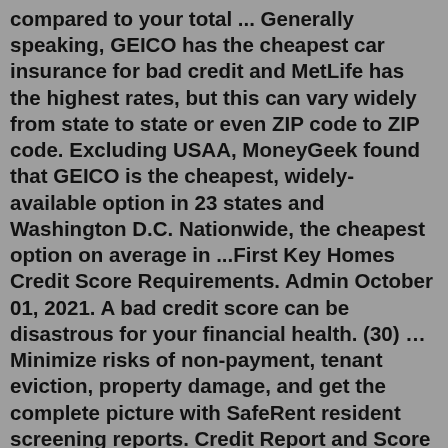compared to your total ... Generally speaking, GEICO has the cheapest car insurance for bad credit and MetLife has the highest rates, but this can vary widely from state to state or even ZIP code to ZIP code. Excluding USAA, MoneyGeek found that GEICO is the cheapest, widely-available option in 23 states and Washington D.C. Nationwide, the cheapest option on average in ...First Key Homes Credit Score Requirements. Admin October 01, 2021. A bad credit score can be disastrous for your financial health. (30) … Minimize risks of non-payment, tenant eviction, property damage, and get the complete picture with SafeRent resident screening reports. Credit Report and Score (31) … If you credit score is bad, start taking steps to improve it now. You can also ask any future landlords if they will approve a co-signer or accept a higher security deposit. 6. You were convicted of a dangerous crime. It is illegal for a property manager or landlord to deny you rental housing for having a criminal record or simply for